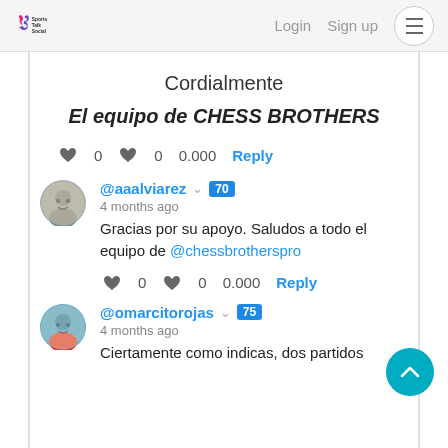Sports Talk Social | Login | Sign up
Cordialmente
El equipo de CHESS BROTHERS
♥ 0   ♥ 0   0.000   Reply
@aaalviarez ✓ 70
4 months ago
Gracias por su apoyo. Saludos a todo el equipo de @chessbrotherspro
♥ 0   ♥ 0   0.000   Reply
@omarcitorojas ✓ 75
4 months ago
Ciertamente como indicas, dos partidos